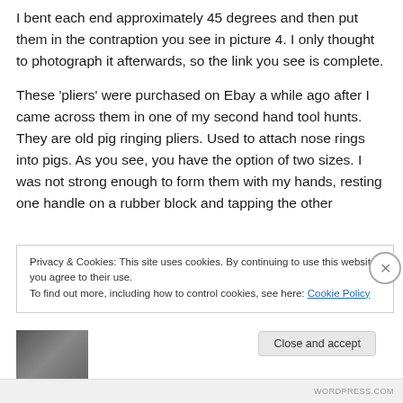I bent each end approximately 45 degrees and then put them in the contraption you see in picture 4. I only thought to photograph it afterwards, so the link you see is complete.
These 'pliers' were purchased on Ebay a while ago after I came across them in one of my second hand tool hunts. They are old pig ringing pliers. Used to attach nose rings into pigs. As you see, you have the option of two sizes. I was not strong enough to form them with my hands, resting one handle on a rubber block and tapping the other
Privacy & Cookies: This site uses cookies. By continuing to use this website, you agree to their use.
To find out more, including how to control cookies, see here: Cookie Policy
Close and accept
[Figure (photo): Partial thumbnail image at bottom of page, partially visible]